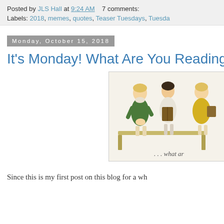Posted by JLS Hall at 9:24 AM   7 comments:
Labels: 2018, memes, quotes, Teaser Tuesdays, Tuesday
Monday, October 15, 2018
It's Monday! What Are You Reading
[Figure (illustration): Vintage illustration of three girls sitting on a bench reading books, with text '...what ar' partially visible]
Since this is my first post on this blog for a wh